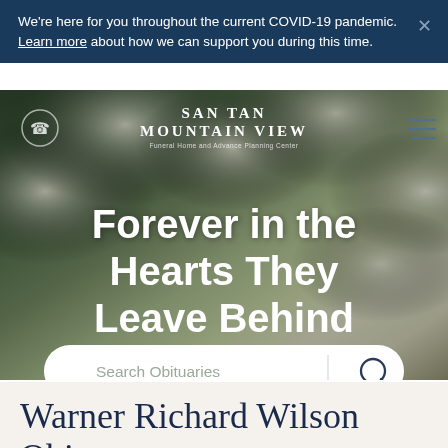We're here for you throughout the current COVID-19 pandemic. Learn more about how we can support you during this time.
[Figure (screenshot): San Tan Mountain View funeral home website hero section with white flower background and search bar]
Forever in the Hearts They Leave Behind
Warner Richard Wilson Obituary